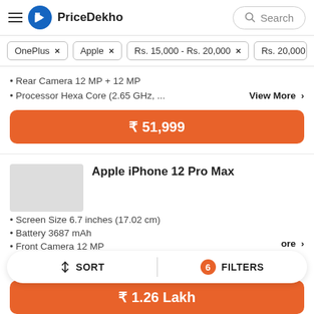PriceDekho
OnePlus ×
Apple ×
Rs. 15,000 - Rs. 20,000 ×
Rs. 20,000 - Rs. 2...
Rear Camera 12 MP + 12 MP
Processor Hexa Core (2.65 GHz, ...
₹ 51,999
Apple iPhone 12 Pro Max
Screen Size 6.7 inches (17.02 cm)
Battery 3687 mAh
Front Camera 12 MP
RAM 6 GB
SORT   FILTERS
₹ 1.26 Lakh